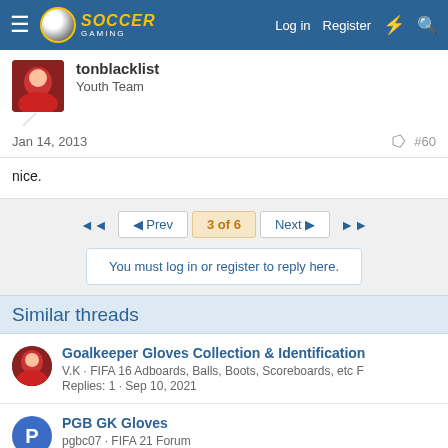Soccer Gaming forum navigation bar with logo, Log in, Register links
tonblacklist
Youth Team
Jan 14, 2013  #60
nice.
◄◄  ◄ Prev  3 of 6  Next ►  ►►
You must log in or register to reply here.
Similar threads
Goalkeeper Gloves Collection & Identification
V.K · FIFA 16 Adboards, Balls, Boots, Scoreboards, etc F
Replies: 1 · Sep 10, 2021
PGB GK Gloves
pgbc07 · FIFA 21 Forum